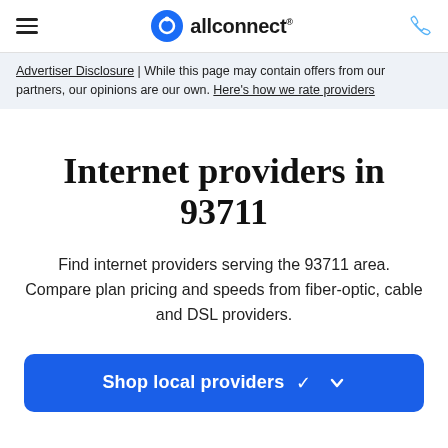allconnect
Advertiser Disclosure | While this page may contain offers from our partners, our opinions are our own. Here's how we rate providers
Internet providers in 93711
Find internet providers serving the 93711 area. Compare plan pricing and speeds from fiber-optic, cable and DSL providers.
Shop local providers